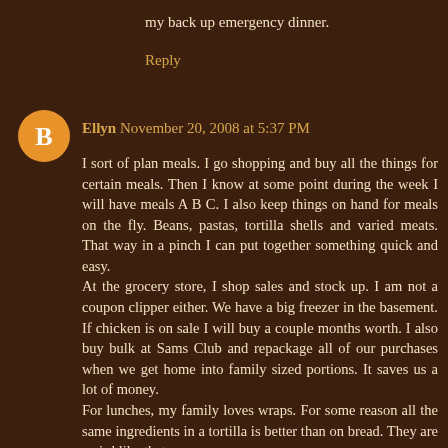my back up emergency dinner.
Reply
[Figure (illustration): Orange circular avatar icon with a white blogger 'B' logo]
Ellyn November 20, 2008 at 5:37 PM
I sort of plan meals. I go shopping and buy all the things for certain meals. Then I know at some point during the week I will have meals A B C. I also keep things on hand for meals on the fly. Beans, pastas, tortilla shells and varied meats. That way in a pinch I can put together something quick and easy.
At the grocery store, I shop sales and stock up. I am not a coupon clipper either. We have a big freezer in the basement. If chicken is on sale I will buy a couple months worth. I also buy bulk at Sams Club and repackage all of our purchases when we get home into family sized portions. It saves us a lot of money.
For lunches, my family loves wraps. For some reason all the same ingredients in a tortilla is better than on bread. They are weird like that.
You didn't ask for but my favorite thing to do with chicken is